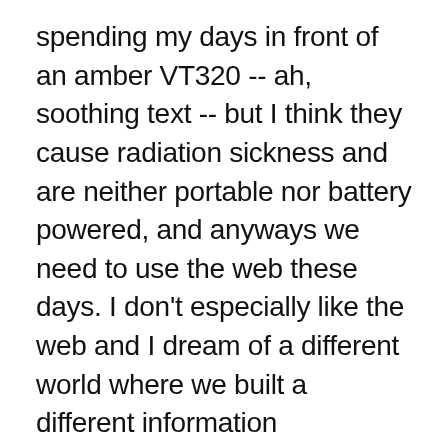spending my days in front of an amber VT320 -- ah, soothing text -- but I think they cause radiation sickness and are neither portable nor battery powered, and anyways we need to use the web these days. I don't especially like the web and I dream of a different world where we built a different information infrastructure.
Software-wise I really wish we'd done almost everything differently. The focus has been on eyeballs and engagement, not like "does it work" or "can it resist attack by bad actors". Almost...